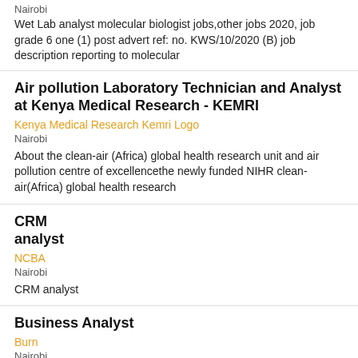Nairobi
Wet Lab analyst molecular biologist jobs,other jobs 2020, job grade 6 one (1) post advert ref: no. KWS/10/2020 (B) job description reporting to molecular
Air pollution Laboratory Technician and Analyst at Kenya Medical Research - KEMRI
Kenya Medical Research Kemri Logo
Nairobi
About the clean-air (Africa) global health research unit and air pollution centre of excellencethe newly funded NIHR clean-air(Africa) global health research
CRM analyst
NCBA
Nairobi
CRM analyst
Business Analyst
Burn
Nairobi
Generate BI reports, dashboards, and data models with the help of BI tools and ms-office products and present consequent reports to management.Monitor